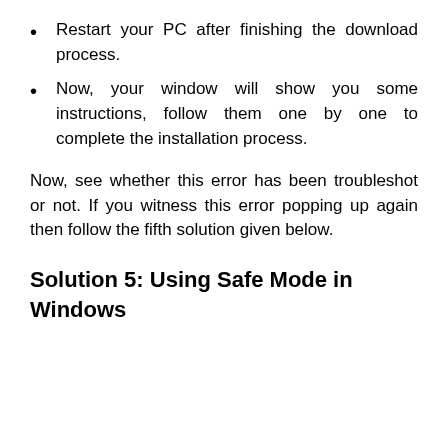Restart your PC after finishing the download process.
Now, your window will show you some instructions, follow them one by one to complete the installation process.
Now, see whether this error has been troubleshot or not. If you witness this error popping up again then follow the fifth solution given below.
Solution 5: Using Safe Mode in Windows